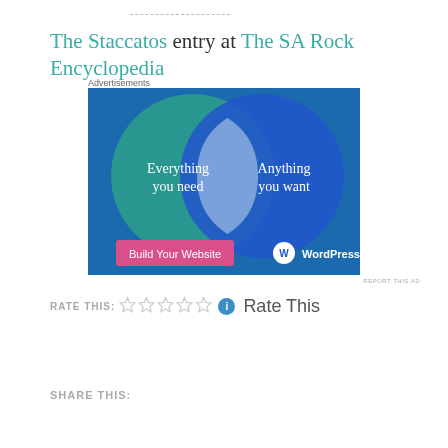The Staccatos entry at The SA Rock Encyclopedia
Advertisements
[Figure (illustration): WordPress.com advertisement showing a Venn diagram with two overlapping circles. Left circle (teal/green): 'Everything you need'. Right circle (blue): 'Anything you want'. Overlapping area is light blue. Bottom has a pink button 'Build Your Website' and WordPress.com logo.]
REPORT THIS AD
RATE THIS: ☆☆☆☆☆ ℹ Rate This
SHARE THIS: